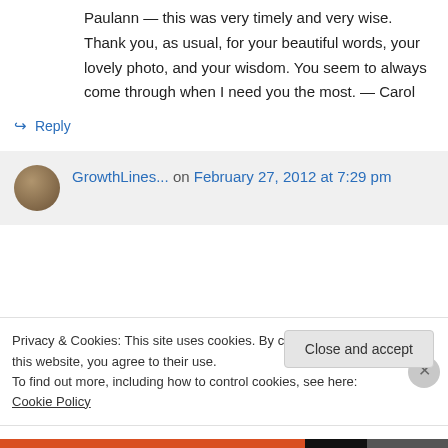Paulann — this was very timely and very wise. Thank you, as usual, for your beautiful words, your lovely photo, and your wisdom. You seem to always come through when I need you the most. — Carol
↳ Reply
GrowthLines... on February 27, 2012 at 7:29 pm
Privacy & Cookies: This site uses cookies. By continuing to use this website, you agree to their use.
To find out more, including how to control cookies, see here: Cookie Policy
Close and accept